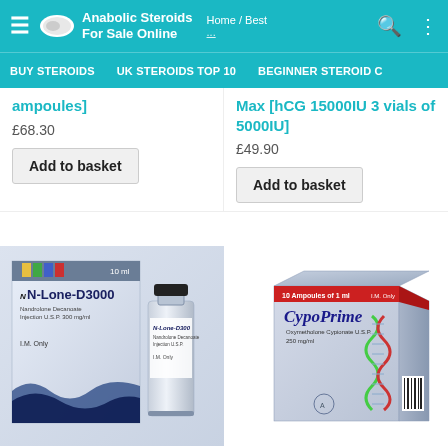Anabolic Steroids For Sale Online | Home / Best
BUY STEROIDS | UK STEROIDS TOP 10 | BEGINNER STEROID C
ampoules]
£68.30
Add to basket
Max [hCG 15000IU 3 vials of 5000IU]
£49.90
Add to basket
[Figure (photo): N-Lone-D3000 Nandrolone Decanoate Injection product box and vial]
[Figure (photo): CypoPrime Testosterone Cypionate product box]